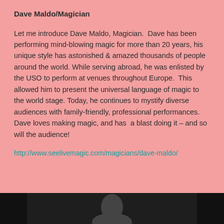Dave Maldo/Magician
Let me introduce Dave Maldo, Magician.  Dave has been performing mind-blowing magic for more than 20 years, his unique style has astonished & amazed thousands of people around the world. While serving abroad, he was enlisted by the USO to perform at venues throughout Europe.  This allowed him to present the universal language of magic to the world stage. Today, he continues to mystify diverse audiences with family-friendly, professional performances. Dave loves making magic, and has  a blast doing it – and so will the audience!
http://www.seelivemagic.com/magicians/dave-maldo/
[Figure (photo): Dark photo strip at bottom showing partial view of a person, appears to be Dave Maldo]